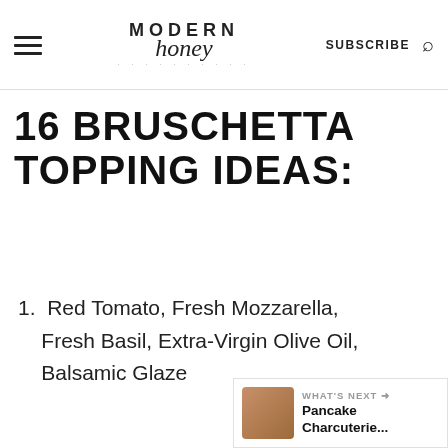Modern Honey — SUBSCRIBE
16 BRUSCHETTA TOPPING IDEAS:
1. Red Tomato, Fresh Mozzarella, Fresh Basil, Extra-Virgin Olive Oil, Balsamic Glaze
WHAT'S NEXT → Pancake Charcuterie...